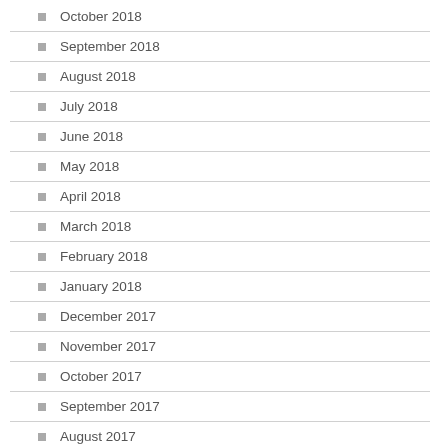October 2018
September 2018
August 2018
July 2018
June 2018
May 2018
April 2018
March 2018
February 2018
January 2018
December 2017
November 2017
October 2017
September 2017
August 2017